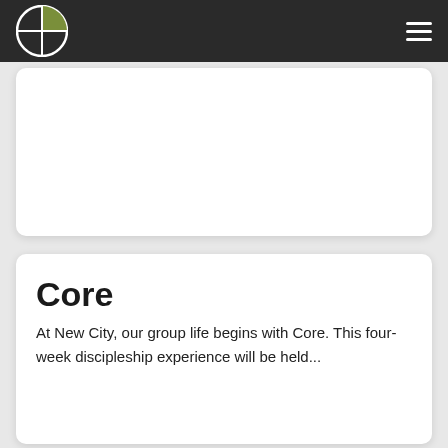Navigation bar with logo and hamburger menu
[Figure (other): Empty white card placeholder area at top]
Core
At New City, our group life begins with Core. This four-week discipleship experience will be held...